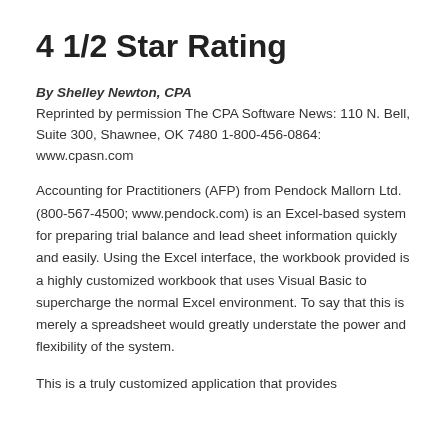4 1/2 Star Rating
By Shelley Newton, CPA
Reprinted by permission The CPA Software News: 110 N. Bell, Suite 300, Shawnee, OK 7480 1-800-456-0864: www.cpasn.com
Accounting for Practitioners (AFP) from Pendock Mallorn Ltd. (800-567-4500; www.pendock.com) is an Excel-based system for preparing trial balance and lead sheet information quickly and easily. Using the Excel interface, the workbook provided is a highly customized workbook that uses Visual Basic to supercharge the normal Excel environment. To say that this is merely a spreadsheet would greatly understate the power and flexibility of the system.
This is a truly customized application that provides